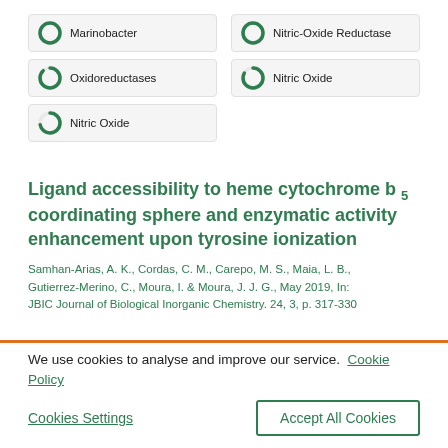[Figure (other): Keyword badge: Marinobacter with green donut/circle chart icon]
[Figure (other): Keyword badge: Nitric-Oxide Reductase with green donut/circle chart icon]
[Figure (other): Keyword badge: Oxidoreductases with green donut/circle chart icon]
[Figure (other): Keyword badge: Nitric Oxide with green donut/circle chart icon]
[Figure (other): Keyword badge: Nitric Oxide (left column, third row) with green donut/circle chart icon]
Ligand accessibility to heme cytochrome b5 coordinating sphere and enzymatic activity enhancement upon tyrosine ionization
Samhan-Arias, A. K., Cordas, C. M., Carepo, M. S., Maia, L. B., Gutierrez-Merino, C., Moura, I. & Moura, J. J. G., May 2019, In: JBIC Journal of Biological Inorganic Chemistry. 24, 3, p. 317-330
We use cookies to analyse and improve our service. Cookie Policy
Cookies Settings
Accept All Cookies